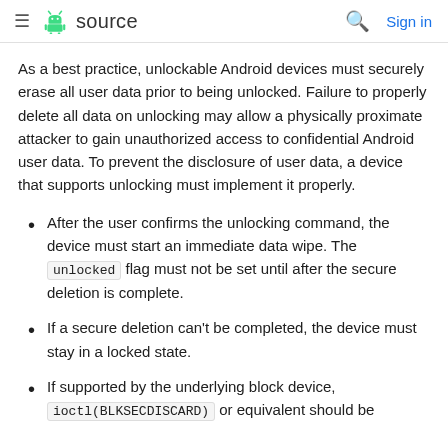≡ 🤖 source   🔍 Sign in
As a best practice, unlockable Android devices must securely erase all user data prior to being unlocked. Failure to properly delete all data on unlocking may allow a physically proximate attacker to gain unauthorized access to confidential Android user data. To prevent the disclosure of user data, a device that supports unlocking must implement it properly.
After the user confirms the unlocking command, the device must start an immediate data wipe. The unlocked flag must not be set until after the secure deletion is complete.
If a secure deletion can't be completed, the device must stay in a locked state.
If supported by the underlying block device, ioctl(BLKSECDISCARD) or equivalent should be